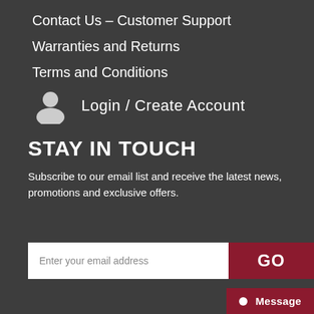Contact Us – Customer Support
Warranties and Returns
Terms and Conditions
Login / Create Account
STAY IN TOUCH
Subscribe to our email list and receive the latest news, promotions and exclusive offers.
Enter your email address
GO
Message